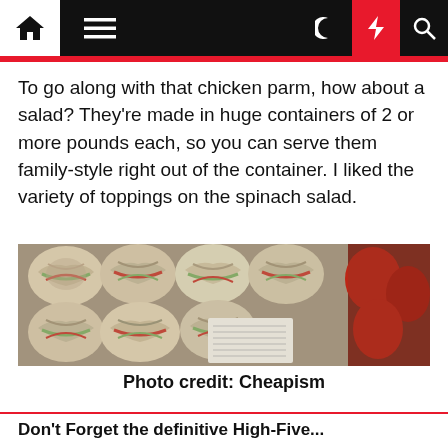Navigation bar with home, menu, moon, lightning, and search icons
To go along with that chicken parm, how about a salad? They're made in huge containers of 2 or more pounds each, so you can serve them family-style right out of the container. I liked the variety of toppings on the spinach salad.
[Figure (photo): Tray of rolled wrap sandwiches with various fillings (meat, greens, tomato) displayed in a food service container with a label sticker, and red peppers visible on the right side.]
Photo credit: Cheapism
Don't Forget the definitive High-Five...